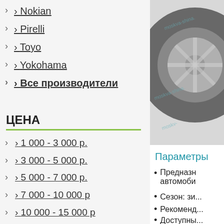Nokian
Pirelli
Toyo
Yokohama
Все производители
[Figure (photo): Black and white photo of a car wheel/tire]
ЦЕНА
1 000 - 3 000 р.
3 000 - 5 000 р.
5 000 - 7 000 р.
7 000 - 10 000 р
10 000 - 15 000 р
Параметры
Предназн... автомоби...
Сезон: зи...
Рекоменд...
Доступны...